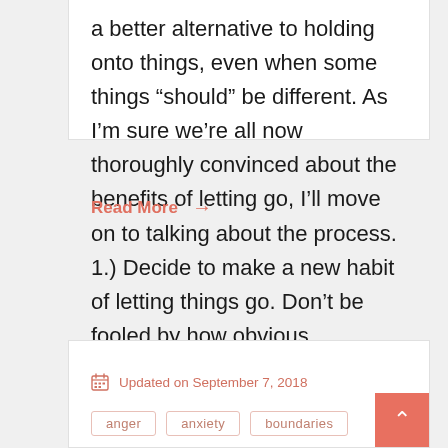a better alternative to holding onto things, even when some things “should” be different. As I’m sure we’re all now thoroughly convinced about the benefits of letting go, I’ll move on to talking about the process. 1.) Decide to make a new habit of letting things go. Don’t be fooled by how obvious …
Read More →
Updated on September 7, 2018
anger   anxiety   boundaries